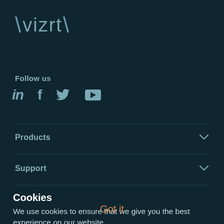[Figure (logo): Vizrt logo with stylized brackets around the word 'vizrt']
Follow us
[Figure (infographic): Social media icons: LinkedIn (in), Facebook (f), Twitter (bird icon), YouTube (play button)]
Products
Support
Cookies
We use cookies to ensure that we give you the best experience on our website.
Got it